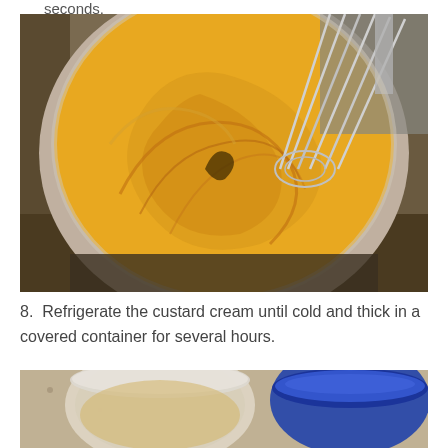seconds.
[Figure (photo): A stainless steel saucepan on a stove containing thick yellow custard cream being whisked, viewed from above. A metal balloon whisk is visible in the cream, which has swirled patterns.]
8.  Refrigerate the custard cream until cold and thick in a covered container for several hours.
[Figure (photo): Two plastic containers on a granite countertop, one clear with a lid and one with a blue lid, containing custard cream.]